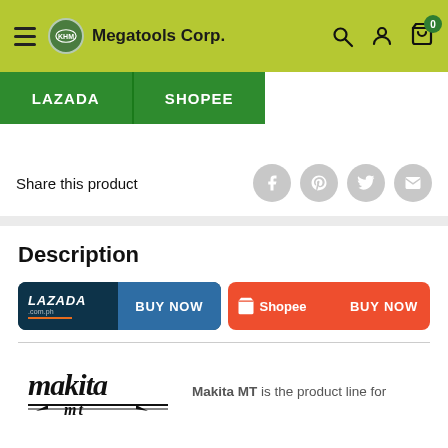KHM Megatools Corp. — Navigation bar with search, account, and cart icons
[Figure (screenshot): Green strip with LAZADA and SHOPEE buttons]
Share this product
Description
[Figure (infographic): LAZADA BUY NOW button (dark blue / blue)]
[Figure (infographic): Shopee BUY NOW button (orange-red)]
[Figure (logo): Makita MT logo]
Makita MT is the product line for